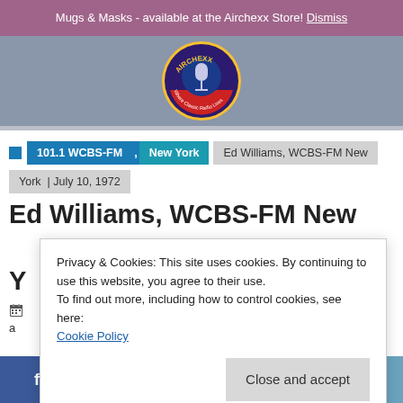Mugs & Masks - available at the Airchexx Store! Dismiss
[Figure (logo): Airchexx logo - circular badge with microphone, 'Where Classic Radio Lives']
101.1 WCBS-FM , New York  Ed Williams, WCBS-FM New York | July 10, 1972
Ed Williams, WCBS-FM New York
Privacy & Cookies: This site uses cookies. By continuing to use this website, you agree to their use.
To find out more, including how to control cookies, see here:
Cookie Policy
Close and accept
f  t  p  in  mail